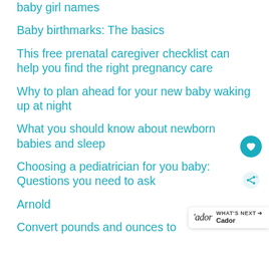baby girl names
Baby birthmarks: The basics
This free prenatal caregiver checklist can help you find the right pregnancy care
Why to plan ahead for your new baby waking up at night
What you should know about newborn babies and sleep
Choosing a pediatrician for you baby: Questions you need to ask
Arnold
Convert pounds and ounces to